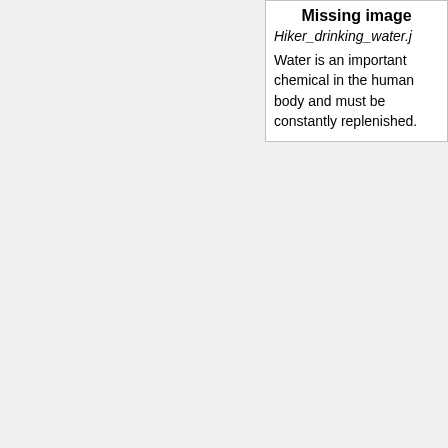[Figure (other): Missing image placeholder box with title 'Missing image', filename 'Hiker_drinking_water.j[pg]', and caption text 'Water is an important chemical in the human body and must be constantly replenished.']
Water is an important chemical in the human body and must be constantly replenished.
for life: it is a good solvent and